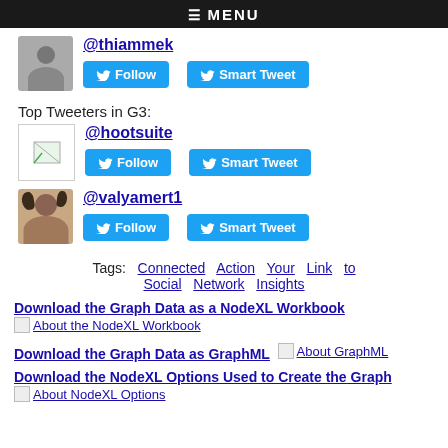≡ MENU
@thiammek
Follow  Smart Tweet
Top Tweeters in G3:
@hootsuite
Follow  Smart Tweet
@valyamert1
Follow  Smart Tweet
Tags:  Connected  Action  Your  Link  to  Social  Network  Insights
Download the Graph Data as a NodeXL Workbook
About the NodeXL Workbook
Download the Graph Data as GraphML  About GraphML
Download the NodeXL Options Used to Create the Graph
About NodeXL Options